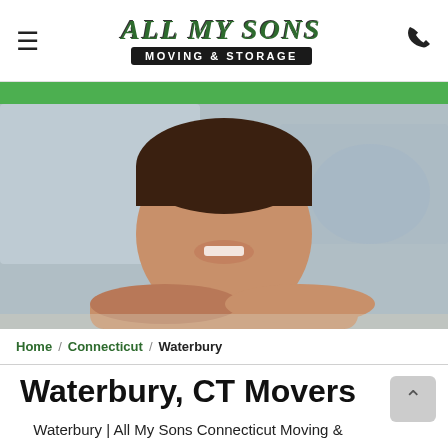[Figure (logo): All My Sons Moving & Storage logo with green stylized text on top and black banner below]
[Figure (photo): Smiling young boy in a dark green t-shirt with arms crossed on a table, blurred background]
Home / Connecticut / Waterbury
Waterbury, CT Movers
Waterbury | All My Sons Connecticut Moving &